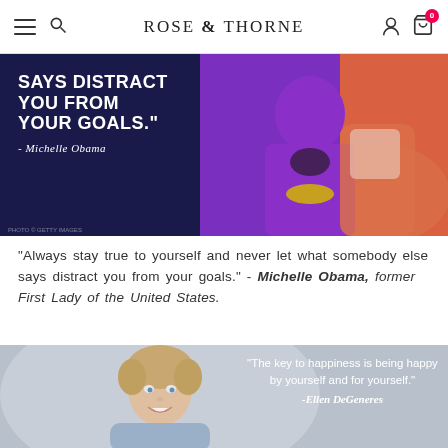ROSE & THORNE
[Figure (photo): Woman in purple suit seated on orange/salmon chair on stage, with text overlay: 'SAYS DISTRACT YOU FROM YOUR GOALS.' - Michelle Obama]
"Always stay true to yourself and never let what somebody else says distract you from your goals." - Michelle Obama, former First Lady of the United States.
[Figure (photo): Ellen DeGeneres smiling on gray background with quote: 'The key to happiness is being happy by yourself and for yourself.' -Ellen DeGeneres]